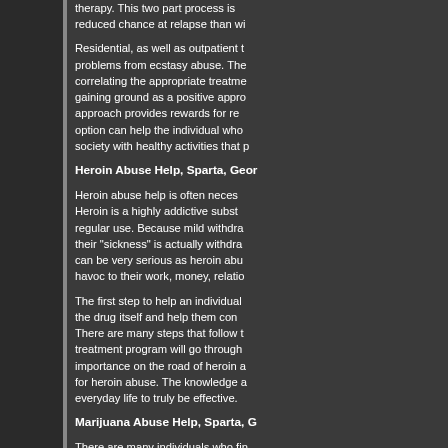therapy. This two part process is reduced chance at relapse than wi
Residential, as well as outpatient t problems from ecstasy abuse. The correlating the appropriate treatme gaining ground as a positive appro approach provides rewards for re option can help the individual who society with healthy activities that p
Heroin Abuse Help, Sparta, Geor
Heroin abuse help is often neces Heroin is a highly addictive subst regular use. Because mild withdra their "sickness" is actually withdra can be very serious as heroin abu havoc to their work, money, relatio
The first step to help an individual the drug itself and help them con There are many steps that follow t treatment program will go through importance on the road of heroin a for heroin abuse. The knowledge a everyday life to truly be effective.
Marijuana Abuse Help, Sparta, G
There are many individuals who fin order to help yourself or someone using marijuana is understood. Th often helpful to identify the reaso providing ideas of how to achieve example, some people abuse ma relaxing without smoking marijua enhance conversation and social years of smoking, the quality of rel